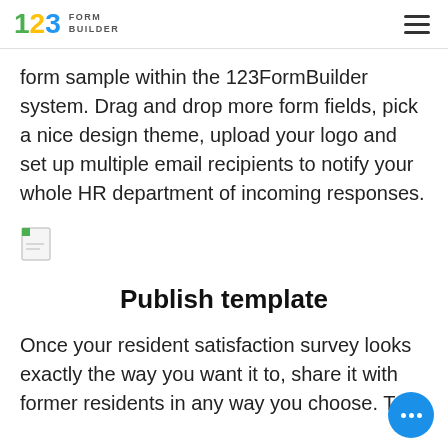123 FORM BUILDER
form sample within the 123FormBuilder system. Drag and drop more form fields, pick a nice design theme, upload your logo and set up multiple email recipients to notify your whole HR department of incoming responses.
[Figure (illustration): Broken image icon (small document/image placeholder with green corner)]
Publish template
Once your resident satisfaction survey looks exactly the way you want it to, share it with former residents in any way you choose. To